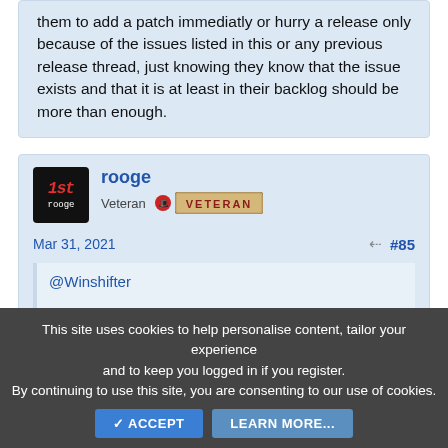them to add a patch immediatly or hurry a release only because of the issues listed in this or any previous release thread, just knowing they know that the issue exists and that it is at least in their backlog should be more than enough.
rooge
Veteran
Mar 31, 2021
#85
@Winshifter
This site uses cookies to help personalise content, tailor your experience and to keep you logged in if you register. By continuing to use this site, you are consenting to our use of cookies.